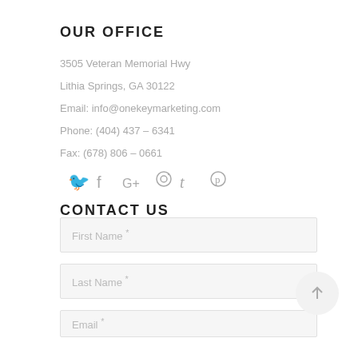OUR OFFICE
3505 Veteran Memorial Hwy
Lithia Springs, GA 30122
Email: info@onekeymarketing.com
Phone: (404) 437 – 6341
Fax: (678) 806 – 0661
[Figure (infographic): Social media icons: Twitter, Facebook, Google+, Instagram, Tumblr, Pinterest]
CONTACT US
First Name *
Last Name *
Email *